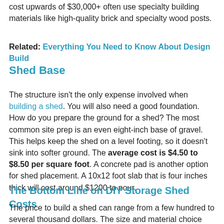cost upwards of $30,000+ often use specialty building materials like high-quality brick and specialty wood posts.
Related: Everything You Need to Know About Design Build
Shed Base
The structure isn't the only expense involved when building a shed. You will also need a good foundation. How do you prepare the ground for a shed? The most common site prep is an even eight-inch base of gravel. This helps keep the shed on a level footing, so it doesn't sink into softer ground. The average cost is $4.50 to $8.50 per square foot. A concrete pad is another option for shed placement. A 10x12 foot slab that is four inches thick will cost around $1200 to pour.
The Bottom Line on DIY Storage Shed Costs
The price to build a shed can range from a few hundred to several thousand dollars. The size and material choice are the biggest factors affecting building costs. When making an apples-to-apples comparison of the same size and style of sheds, it is almost always cheaper to build a DIY shed compared to hiring a contractor. In